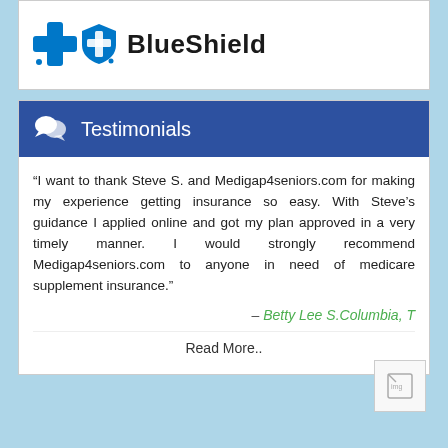[Figure (logo): Blue Cross Blue Shield logo with cross icon, shield icon, and 'BlueShield' text in bold]
Testimonials
“I want to thank Steve S. and Medigap4seniors.com for making my experience getting insurance so easy. With Steve’s guidance I applied online and got my plan approved in a very timely manner. I would strongly recommend Medigap4seniors.com to anyone in need of medicare supplement insurance.”
– Betty Lee S.Columbia, T
Read More..